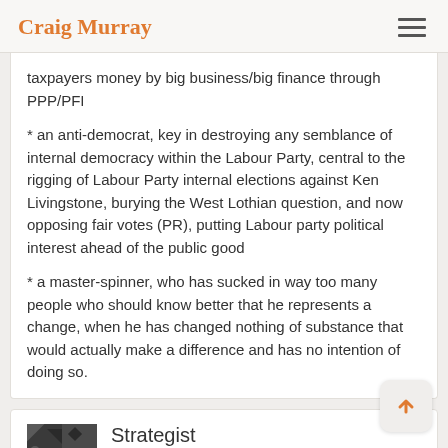Craig Murray
taxpayers money by big business/big finance through PPP/PFI
* an anti-democrat, key in destroying any semblance of internal democracy within the Labour Party, central to the rigging of Labour Party internal elections against Ken Livingstone, burying the West Lothian question, and now opposing fair votes (PR), putting Labour party political interest ahead of the public good
* a master-spinner, who has sucked in way too many people who should know better that he represents a change, when he has changed nothing of substance that would actually make a difference and has no intention of doing so.
Strategist
August 8, 2007 at 01:13
Oh yeah, and no civil liberties credentials either.